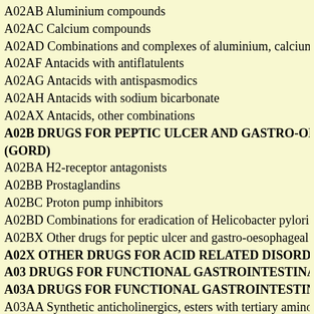A02AB Aluminium compounds
A02AC Calcium compounds
A02AD Combinations and complexes of aluminium, calcium and ma
A02AF Antacids with antiflatulents
A02AG Antacids with antispasmodics
A02AH Antacids with sodium bicarbonate
A02AX Antacids, other combinations
A02B DRUGS FOR PEPTIC ULCER AND GASTRO-OESOPHAG (GORD)
A02BA H2-receptor antagonists
A02BB Prostaglandins
A02BC Proton pump inhibitors
A02BD Combinations for eradication of Helicobacter pylori
A02BX Other drugs for peptic ulcer and gastro-oesophageal reflux d
A02X OTHER DRUGS FOR ACID RELATED DISORDERS
A03 DRUGS FOR FUNCTIONAL GASTROINTESTINAL DISOR
A03A DRUGS FOR FUNCTIONAL GASTROINTESTINAL DISO
A03AA Synthetic anticholinergics, esters with tertiary amino group
A03AB Synthetic anticholinergics, quaternary ammonium compound
A03AC Synthetic antispasmodics, amides with tertiary amines
A03AD Papaverine and derivatives